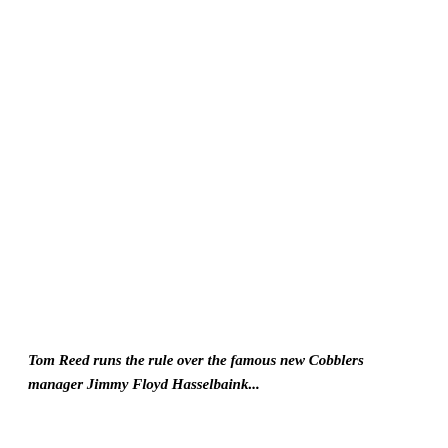Tom Reed runs the rule over the famous new Cobblers manager Jimmy Floyd Hasselbaink...